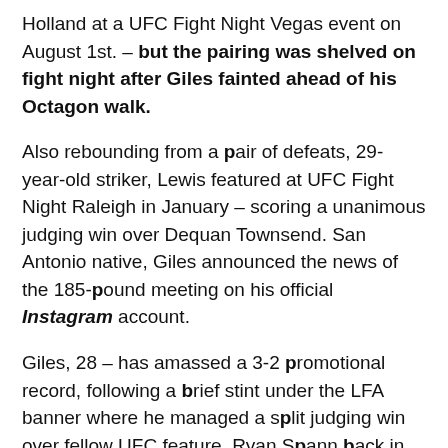Holland at a UFC Fight Night Vegas event on August 1st. – but the pairing was shelved on fight night after Giles fainted ahead of his Octagon walk.
Also rebounding from a pair of defeats, 29-year-old striker, Lewis featured at UFC Fight Night Raleigh in January – scoring a unanimous judging win over Dequan Townsend. San Antonio native, Giles announced the news of the 185-pound meeting on his official Instagram account.
Giles, 28 – has amassed a 3-2 promotional record, following a brief stint under the LFA banner where he managed a split judging win over fellow UFC feature, Ryan Spann back in February of 2017.
In promotional victories, the Texan has bested, James Bochnovic, Antônio Braga Neto, as well as his